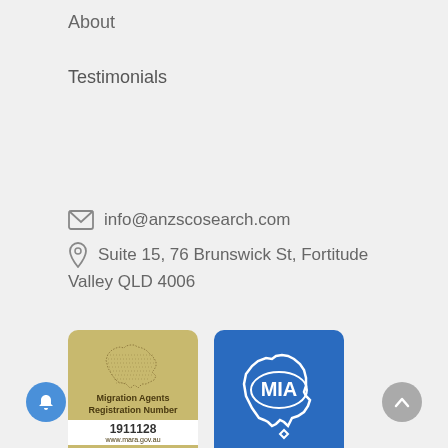About
Testimonials
info@anzscosearch.com
Suite 15, 76 Brunswick St, Fortitude Valley QLD 4006
[Figure (logo): Migration Agents Registration Number badge with number 1911128 and www.mara.gov.au]
[Figure (logo): MIA (Migration Institute of Australia) logo on blue background]